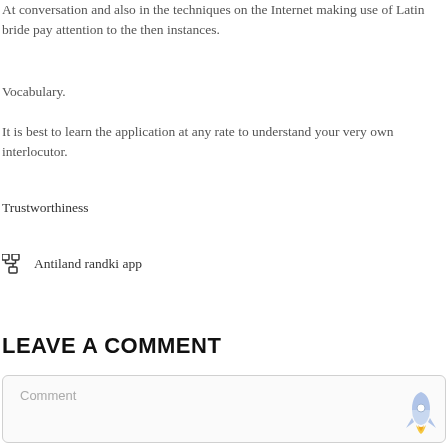At conversation and also in the techniques on the Internet making use of Latin bride pay attention to the then instances.
Vocabulary.
It is best to learn the application at any rate to understand your very own interlocutor.
Trustworthiness
Antiland randki app
LEAVE A COMMENT
Comment